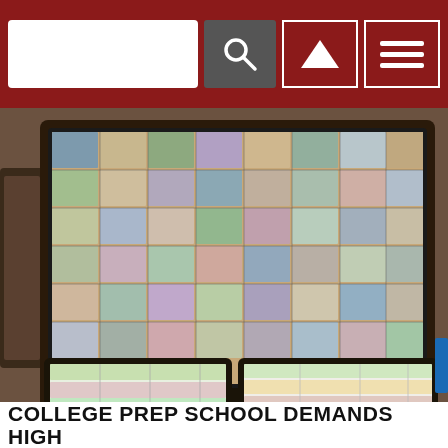Search bar and navigation buttons
[Figure (photo): A large TV monitor displaying a grid of many small images/thumbnails, mounted on a dark stand. Below are two computer monitors side by side showing colorful scheduling or spreadsheet software with green, red, and yellow highlighted rows.]
COLLEGE PREP SCHOOL DEMANDS HIGH